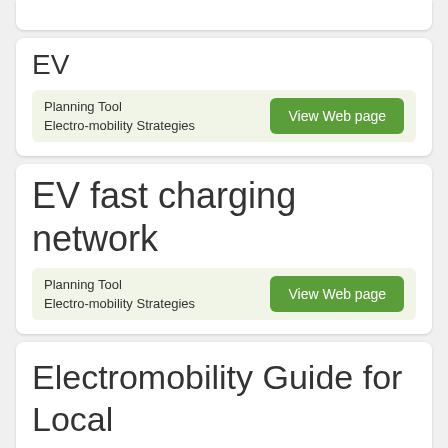EV
Planning Tool
Electro-mobility Strategies
EV fast charging network
Planning Tool
Electro-mobility Strategies
Electromobility Guide for Local and Regional Authorities